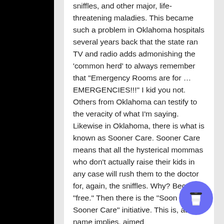sniffles, and other major, life-threatening maladies. This became such a problem in Oklahoma hospitals several years back that the state ran TV and radio adds admonishing the 'common herd' to always remember that "Emergency Rooms are for … EMERGENCIES!!!" I kid you not. Others from Oklahoma can testify to the veracity of what I'm saying. Likewise in Oklahoma, there is what is known as Sooner Care. Sooner Care means that all the hysterical mommas who don't actually raise their kids in any case will rush them to the doctor for, again, the sniffles. Why? Because, "free." Then there is the "Soon to be Sooner Care" initiative. This is, as the name implies, aimed
[Figure (illustration): Blue circular button with a coffee cup (to-go cup) icon, positioned at bottom right of the page.]